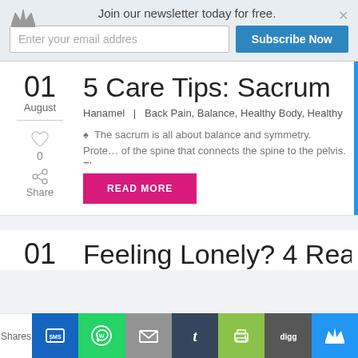Join our newsletter today for free.
Enter your email addres
Subscribe Now
5 Care Tips: Sacrum
Hanamel | Back Pain, Balance, Healthy Body, Healthy…
The sacrum is all about balance and symmetry. Prote… of the spine that connects the spine to the pelvis. The s…
READ MORE
01 August
0
Share
Feeling Lonely? 4 Reas…
01
Shares